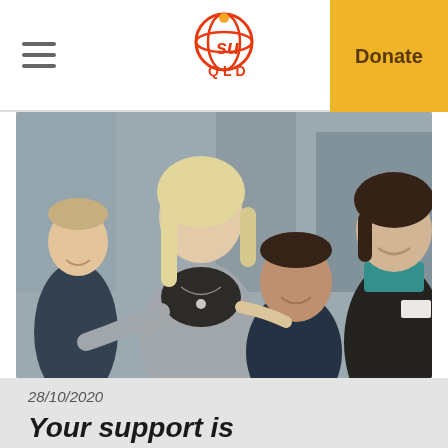SU QLD — Donate
[Figure (photo): Group photo of four smiling people — two children and two adult women — in what appears to be a school or community setting. A blonde woman in a grey jacket has her arm around children, and another woman in a dark jacket with a name badge is on the right.]
28/10/2020
Your support is crossing borders for